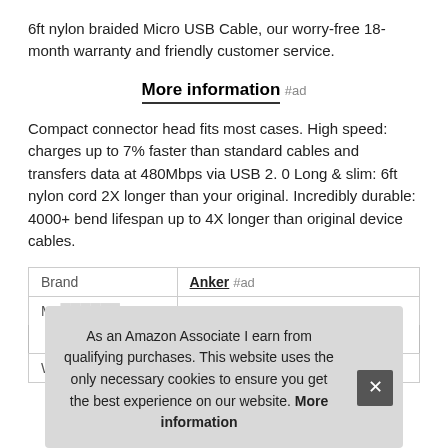6ft nylon braided Micro USB Cable, our worry-free 18-month warranty and friendly customer service.
More information #ad
Compact connector head fits most cases. High speed: charges up to 7% faster than standard cables and transfers data at 480Mbps via USB 2. 0 Long & slim: 6ft nylon cord 2X longer than your original. Incredibly durable: 4000+ bend lifespan up to 4X longer than original device cables.
| Brand | Anker #ad |
| Ma... |  |
| Weight | 0.22 Pounds |
As an Amazon Associate I earn from qualifying purchases. This website uses the only necessary cookies to ensure you get the best experience on our website. More information